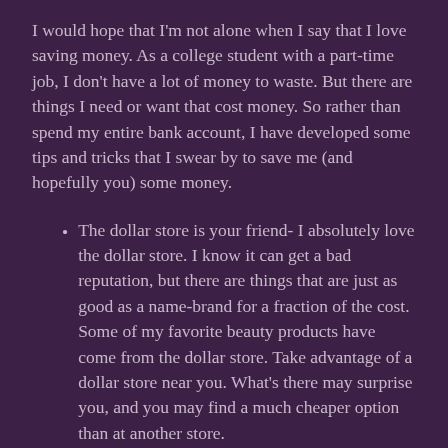I would hope that I'm not alone when I say that I love saving money. As a college student with a part-time job, I don't have a lot of money to waste. But there are things I need or want that cost money. So rather than spend my entire bank account, I have developed some tips and tricks that I swear by to save me (and hopefully you) some money.
The dollar store is your friend- I absolutely love the dollar store. I know it can get a bad reputation, but there are things that are just as good as a name-brand for a fraction of the cost. Some of my favorite beauty products have come from the dollar store. Take advantage of a dollar store near you. What's there may surprise you, and you may find a much cheaper option than at another store.